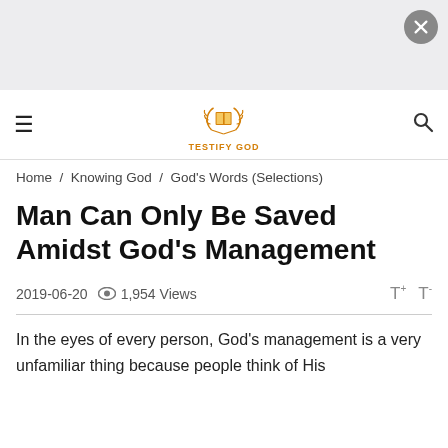[Figure (screenshot): Top bar with close button (X) on a light gray background]
≡   TESTIFY GOD   🔍
Home / Knowing God / God's Words (Selections)
Man Can Only Be Saved Amidst God's Management
2019-06-20   👁 1,954 Views   T+   T-
In the eyes of every person, God's management is a very unfamiliar thing because people think of His